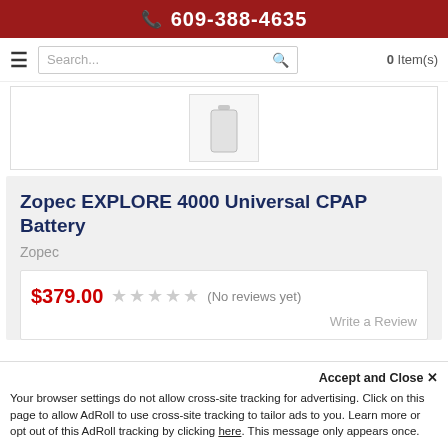609-388-4635
Search...  0 Item(s)
[Figure (photo): Product thumbnail image of a white rectangular CPAP battery pack]
Zopec EXPLORE 4000 Universal CPAP Battery
Zopec
$379.00  (No reviews yet)
Write a Review
Accept and Close ×
Your browser settings do not allow cross-site tracking for advertising. Click on this page to allow AdRoll to use cross-site tracking to tailor ads to you. Learn more or opt out of this AdRoll tracking by clicking here. This message only appears once.